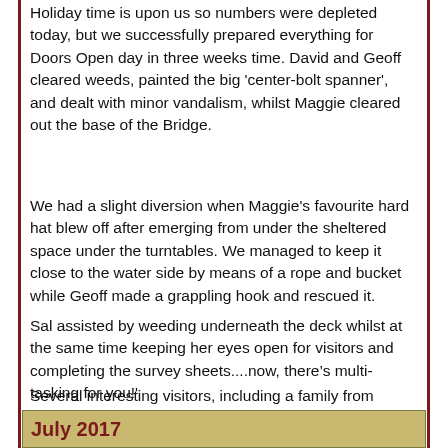Holiday time is upon us so numbers were depleted today, but we successfully prepared everything for Doors Open day in three weeks time. David and Geoff cleared weeds, painted the big 'center-bolt spanner', and dealt with minor vandalism, whilst Maggie cleared out the base of the Bridge.
We had a slight diversion when Maggie's favourite hard hat blew off after emerging from under the sheltered space under the turntables. We managed to keep it close to the water side by means of a rope and bucket while Geoff made a grappling hook and rescued it.
Sal assisted by weeding underneath the deck whilst at the same time keeping her eyes open for visitors and completing the survey sheets....now, there’s multi-tasking for you!'
Several interesting visitors, including a family from Ukraine who were really fascinated by BOB, and, of course left with a leaflet. Someone else come to talk about what mechanisms could be used to get the bridge turning again.
July 2017